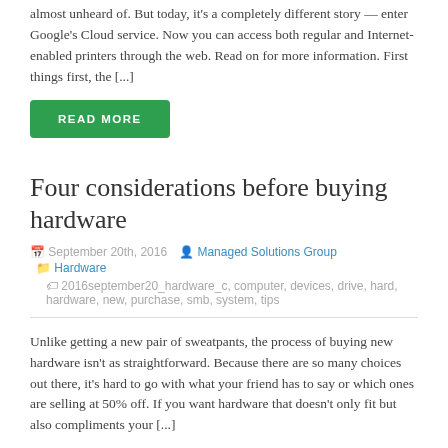almost unheard of. But today, it's a completely different story — enter Google's Cloud service. Now you can access both regular and Internet-enabled printers through the web. Read on for more information. First things first, the [...]
READ MORE
Four considerations before buying hardware
September 20th, 2016   Managed Solutions Group   Hardware   2016september20_hardware_c, computer, devices, drive, hard, hardware, new, purchase, smb, system, tips
Unlike getting a new pair of sweatpants, the process of buying new hardware isn't as straightforward. Because there are so many choices out there, it's hard to go with what your friend has to say or which ones are selling at 50% off. If you want hardware that doesn't only fit but also compliments your [...]